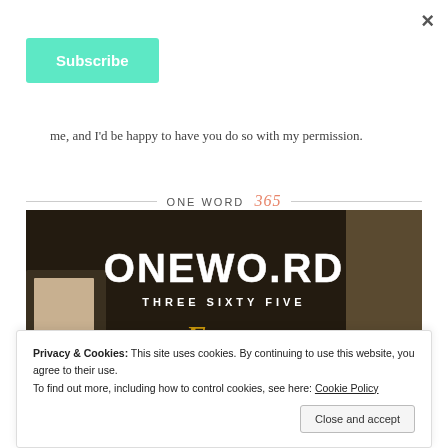×
Subscribe
me, and I'd be happy to have you do so with my permission.
[Figure (illustration): ONE WORD 365 divider header with horizontal lines on each side]
[Figure (photo): One Word Three Sixty Five promotional image with large text ONEWO.RD and subtitle THREE SIXTY FIVE and word FOCUS in gold at bottom, dark background with hands on laptop]
Privacy & Cookies: This site uses cookies. By continuing to use this website, you agree to their use.
To find out more, including how to control cookies, see here: Cookie Policy
Close and accept